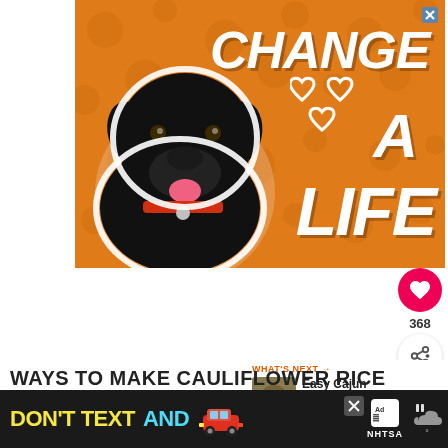[Figure (illustration): Advertisement banner with orange background showing a black Labrador dog with red collar on the left side, white bold text reading 'CHANGE A LIFE' and white heart outlines on the right side. Small X close button in top right corner.]
[Figure (illustration): Circular red heart/like button showing a white heart icon]
368
[Figure (illustration): Circular white share button with share icon]
WHAT'S NEXT →
Easy Cajun Dirty Rice...
WAYS TO MAKE CAULIFLOWER RICE
[Figure (illustration): Bottom black advertisement bar with yellow text 'DON'T TEXT' and cyan text 'AND', a red car emoji, ad badge and NHTSA logo]